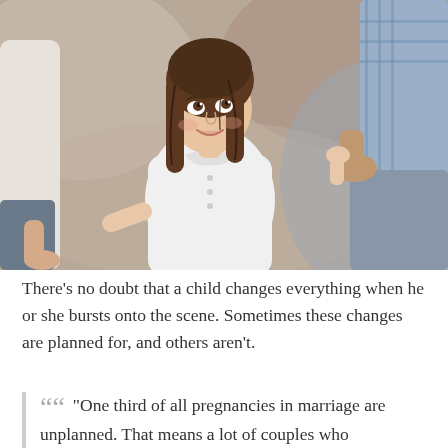[Figure (photo): A young girl with long brown hair wearing a white polo shirt, smiling and looking upward while holding hands with two adults (partially visible on left and right). Outdoor setting with blurred background.]
There’s no doubt that a child changes everything when he or she bursts onto the scene. Sometimes these changes are planned for, and others aren’t.
“One third of all pregnancies in marriage are unplanned. That means a lot of couples who